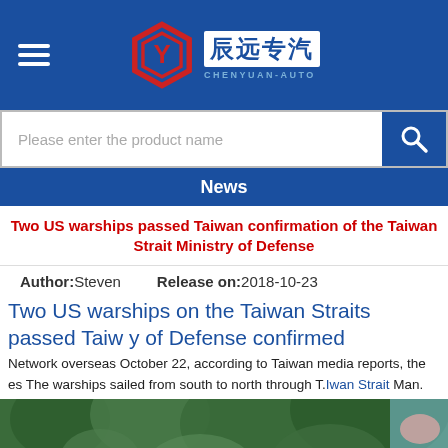Chenyuan-Auto website header with hamburger menu and logo
Please enter the product name
News
Two US warships passed Taiwan confirmation of the Taiwan Strait Ministry of Defense
Author: Steven   Release on: 2018-10-23
Two US warships on the Taiwan Straits passed Taiwan y of Defense confirmed
Network overseas October 22, according to Taiwan media reports, the es The warships sailed from south to north through T.Iwan Strait Man...
[Figure (photo): Photograph of trees and foliage, partially visible at bottom of page]